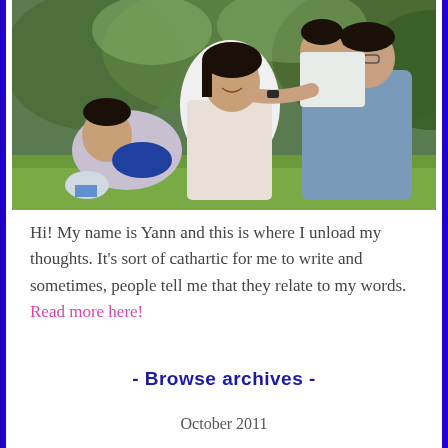[Figure (photo): A family of four — a mother, father, and two young boys — sitting together on grass outdoors, laughing and playing. The parents and children appear to be of Asian descent. The setting appears to be a park with green trees in the background.]
Hi! My name is Yann and this is where I unload my thoughts. It's sort of cathartic for me to write and sometimes, people tell me that they relate to my words. Read more here!
- Browse archives -
October 2011